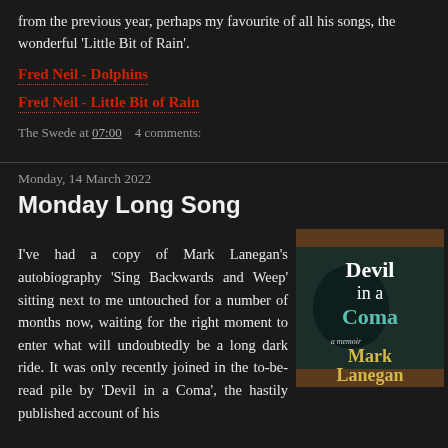from the previous year, perhaps my favourite of all his songs, the wonderful 'Little Bit of Rain'.
Fred Neil - Dolphins
Fred Neil - Little Bit of Rain
The Swede at 07:00    4 comments:
Monday, 14 March 2022
Monday Long Song
I've had a copy of Mark Lanegan's autobiography 'Sing Backwards and Weep' sitting next to me untouched for a number of months now, waiting for the right moment to enter what will undoubtedly be a long dark ride. It was only recently joined in the to-be-read pile by 'Devil in a Coma', the hastily published account of his
[Figure (photo): Book cover of 'Devil in a Coma' by Mark Lanegan. Dark teal/green cover with text 'Devil in a Coma' in large white and teal letters, 'a memoir' in smaller text, and 'Mark Lanegan' in yellow letters at the bottom.]